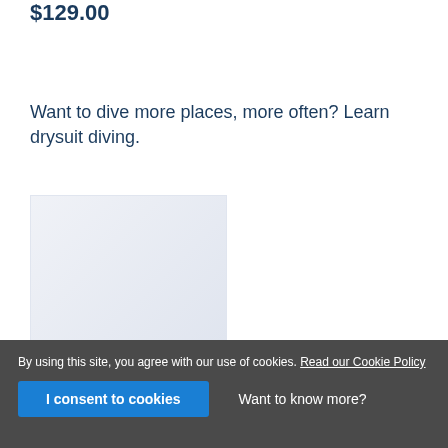$129.00
Want to dive more places, more often? Learn drysuit diving.
[Figure (photo): Light blue-grey placeholder image area for a drysuit diving course photo]
By using this site, you agree with our use of cookies. Read our Cookie Policy
I consent to cookies
Want to know more?